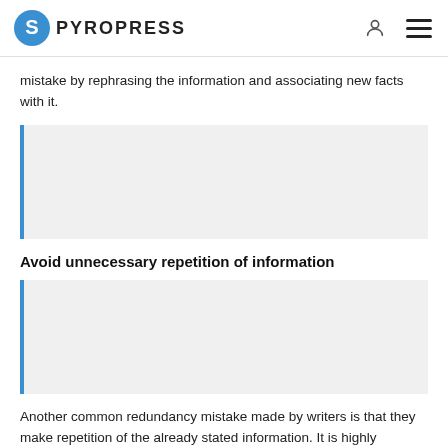PYROPRESS
mistake by rephrasing the information and associating new facts with it.
[Figure (other): Grey blockquote box with blue left border, empty content area]
Avoid unnecessary repetition of information
[Figure (other): Grey blockquote box with blue left border, empty content area]
Another common redundancy mistake made by writers is that they make repetition of the already stated information. It is highly significant to find the right balance between reiterating essential concepts and allowing readers to follow along. Unnecessary repetition may distract your readers and make the